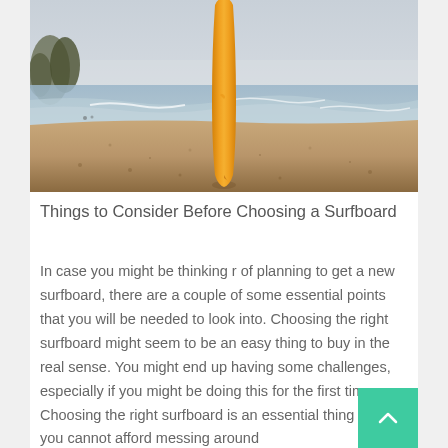[Figure (photo): A yellow surfboard standing upright on a sandy beach with ocean waves in the background and a hazy sky]
Things to Consider Before Choosing a Surfboard
In case you might be thinking r of planning to get a new surfboard, there are a couple of some essential points that you will be needed to look into. Choosing the right surfboard might seem to be an easy thing to buy in the real sense. You might end up having some challenges, especially if you might be doing this for the first time. Choosing the right surfboard is an essential thing that you cannot afford messing around